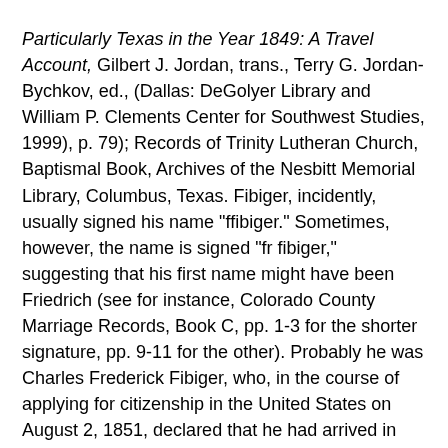Particularly Texas in the Year 1849: A Travel Account, Gilbert J. Jordan, trans., Terry G. Jordan-Bychkov, ed., (Dallas: DeGolyer Library and William P. Clements Center for Southwest Studies, 1999), p. 79); Records of Trinity Lutheran Church, Baptismal Book, Archives of the Nesbitt Memorial Library, Columbus, Texas. Fibiger, incidently, usually signed his name "ffibiger." Sometimes, however, the name is signed "fr fibiger," suggesting that his first name might have been Friedrich (see for instance, Colorado County Marriage Records, Book C, pp. 1-3 for the shorter signature, pp. 9-11 for the other). Probably he was Charles Frederick Fibiger, who, in the course of applying for citizenship in the United States on August 2, 1851, declared that he had arrived in Texas on December 26, 1846 (see Colorado County District Court Records, Final Record Book B, p. 414).

    The case might be made that the four acres the